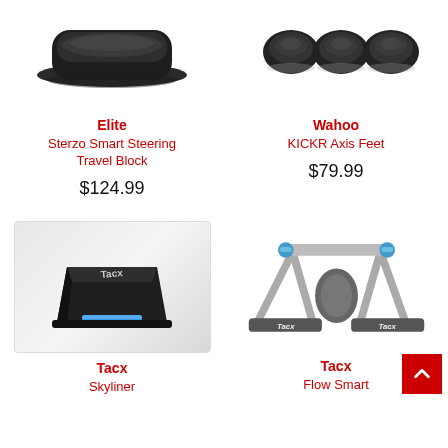[Figure (photo): Elite Sterzo Smart Steering Travel Block product photo - black steering block device]
[Figure (photo): Wahoo KICKR Axis Feet product photo - three rubber feet accessories]
Elite
Sterzo Smart Steering Travel Block
$124.99
Wahoo
KICKR Axis Feet
$79.99
[Figure (photo): Tacx Skyliner front wheel riser block - black wedge-shaped device with blue accent and Tacx branding]
[Figure (photo): Tacx Flow Smart bike trainer - white and grey folding trainer with roller]
Tacx
Skyliner
Tacx
Flow Smart